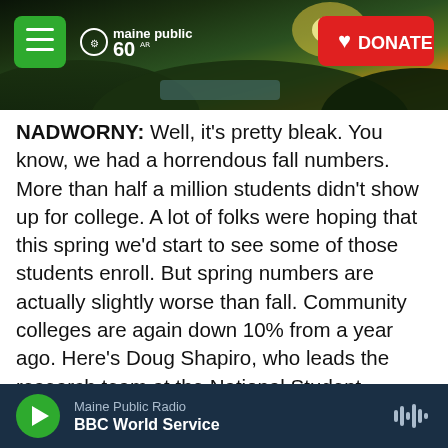[Figure (screenshot): Maine Public Radio website header with landscape/sunset photo, hamburger menu button, Maine Public 60 logo, and red DONATE button]
NADWORNY: Well, it's pretty bleak. You know, we had a horrendous fall numbers. More than half a million students didn't show up for college. A lot of folks were hoping that this spring we'd start to see some of those students enroll. But spring numbers are actually slightly worse than fall. Community colleges are again down 10% from a year ago. Here's Doug Shapiro, who leads the research team at the National Student Clearinghouse, where the data comes from.
DOUG SHAPIRO: There's no quick turnaround here. There's no easy back for public colleges. We really
Maine Public Radio  BBC World Service